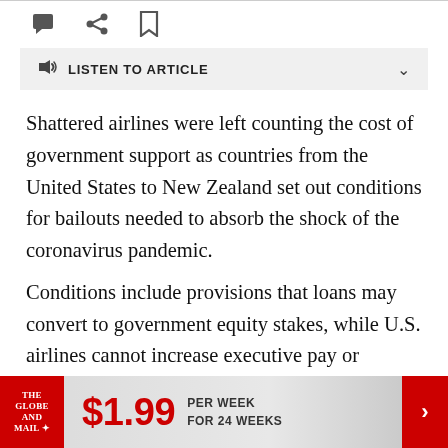[Figure (other): Toolbar icons: comment bubble, share/reply arrow, bookmark]
LISTEN TO ARTICLE
Shattered airlines were left counting the cost of government support as countries from the United States to New Zealand set out conditions for bailouts needed to absorb the shock of the coronavirus pandemic.
Conditions include provisions that loans may convert to government equity stakes, while U.S. airlines cannot increase executive pay or provide “golden parachutes” for two years.
[Figure (other): The Globe and Mail advertisement banner: $1.99 PER WEEK FOR 24 WEEKS]